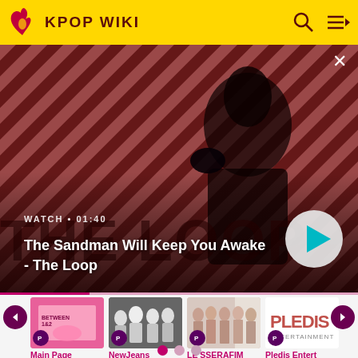KPOP WIKI
[Figure (screenshot): Hero banner showing a dark-themed promotional image for 'The Sandman Will Keep You Awake - The Loop' with a man in a black coat and a crow on his shoulder against a red-and-black diagonal striped background. Text overlays: 'WATCH • 01:40' and title. A circular play button is visible at bottom right.]
The Sandman Will Keep You Awake - The Loop
[Figure (screenshot): Card thumbnail for 'Main Page' showing a pink K-pop album cover with characters]
Main Page
[Figure (screenshot): Card thumbnail for 'NewJeans' showing black and white photo of group members]
NewJeans
[Figure (screenshot): Card thumbnail for 'LE SSERAFIM' showing group members in light outfits]
LE SSERAFIM
[Figure (screenshot): Card thumbnail for 'Pledis Entertainment' showing the Pledis Entertainment logo]
Pledis Entert